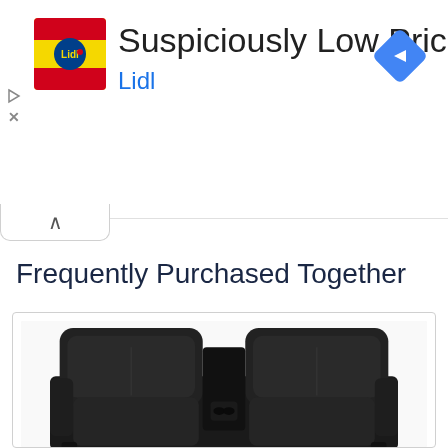[Figure (photo): Lidl advertisement banner with Lidl logo, title 'Suspiciously Low Prices', subtitle 'Lidl', and a blue navigation/direction icon on the right]
[Figure (other): Collapse/minimize tab with upward-pointing chevron arrow]
Frequently Purchased Together
[Figure (photo): Product image showing a black leather two-seat recliner sofa with center console, viewed from front, on white background inside a product card]